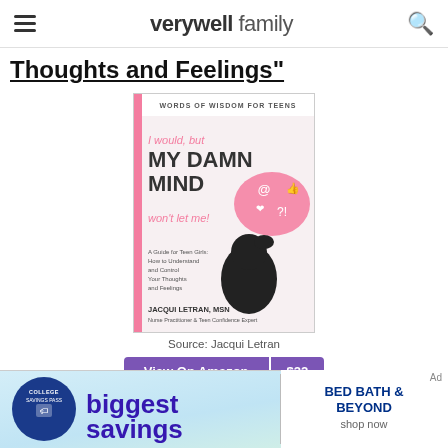verywell family
Thoughts and Feelings"
[Figure (photo): Book cover: 'I would, but MY DAMN MIND won't let me!' by Jacqui Letran, MSN. Subtitle: Words of Wisdom for Teens. A Guide for Teen Girls: How to Understand and Control Your Thoughts and Feelings. Features a silhouette of a girl with a pink thought bubble containing social media icons.]
Source: Jacqui Letran
View On Amazon  $22
[Figure (photo): Advertisement banner for Bed Bath & Beyond College Savings Pass showing 'biggest savings' text with blue and teal gradient background.]